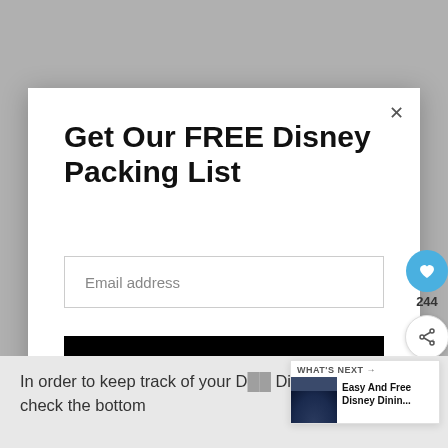[Figure (screenshot): Modal popup overlay on a grey background website page]
Get Our FREE Disney Packing List
Email address
Subscribe
244
In order to keep track of your D... Dining Plan credits, check the bottom
WHAT'S NEXT → Easy And Free Disney Dinin...